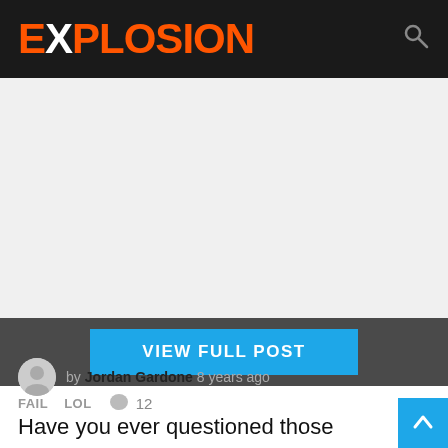EXPLOSION
[Figure (other): Advertisement or image placeholder area, light gray background]
VIEW FULL POST
FAIL  LOL  💬 12
by Jordan Gardone 8 years ago
Have you ever questioned those studies that say women live longer than men? There are plenty of those researches over the Internet and to be honest